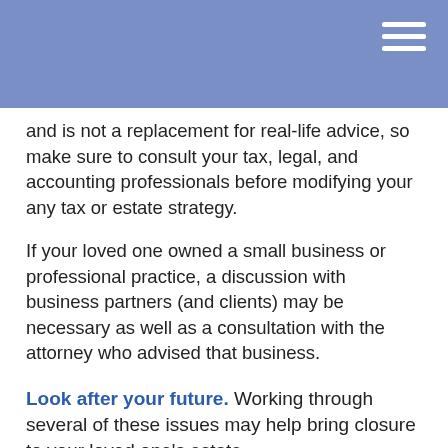and is not a replacement for real-life advice, so make sure to consult your tax, legal, and accounting professionals before modifying your any tax or estate strategy.
If your loved one owned a small business or professional practice, a discussion with business partners (and clients) may be necessary as well as a consultation with the attorney who advised that business.
Look after your future. Working through several of these issues may help bring closure to your loved one’s estate.
The content is developed from sources believed to be providing accurate information. The information in this material is not intended as tax or legal advice. It may not be used for the purpose of avoiding any federal tax penalties. Please consult legal or tax professionals for specific information regarding your individual situation. This material was developed and produced by FMG Suite to provide information on a topic that may be of interest. FMG, LLC, is not affiliated with the named broker-dealer, state- or SEC-registered investment advisory firm. The opinions expressed and material considered from information and data believed to be provided by limitation of